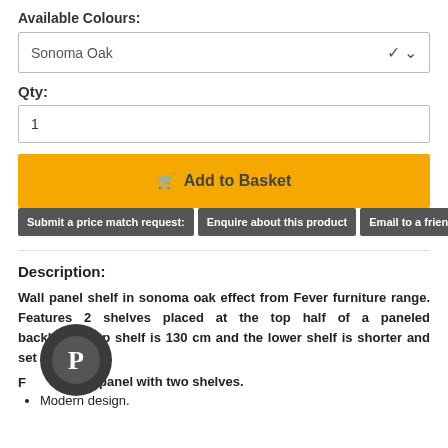Available Colours:
Sonoma Oak
Qty:
1
Add to Basket
Submit a price match request:
Enquire about this product
Email to a friend
Description:
Wall panel shelf in sonoma oak effect from Fever furniture range. Features 2 shelves placed at the top half of a paneled backboard.Top shelf is 130 cm and the lower shelf is shorter and set to the right.
Fe... ging panel with two shelves.
Modern design.